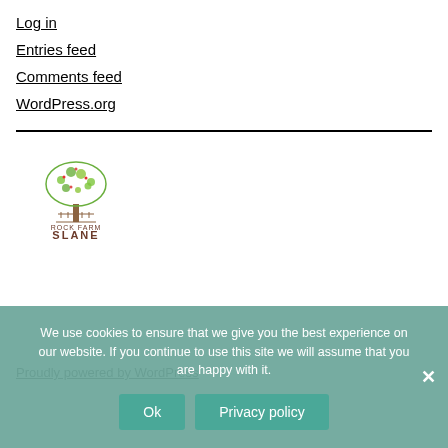Log in
Entries feed
Comments feed
WordPress.org
[Figure (logo): Rock Farm Slane logo with a decorative tree above text reading ROCK FARM SLANE and a tagline beneath]
Proudly powered by WordPress
We use cookies to ensure that we give you the best experience on our website. If you continue to use this site we will assume that you are happy with it.
Ok   Privacy policy